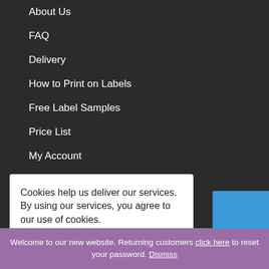About Us
FAQ
Delivery
How to Print on Labels
Free Label Samples
Price List
My Account
My Basket
Cookie Policy
Cookies help us deliver our services. By using our services, you agree to our use of cookies.
Welcome to our new website. Returning customers click here to reset your password. Dismiss